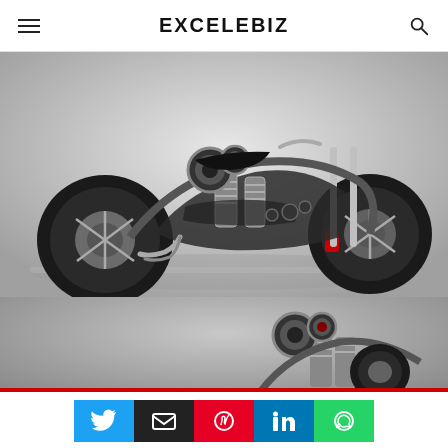EXCELEBIZ
[Figure (photo): High-detail custom chopper/bobber motorcycle with carbon fiber bodywork, chrome engine, round porthole-style gauges, and red brake calipers, shown on a white/grey gradient background with reflection.]
[Figure (photo): Partial view of the same custom motorcycle, cropped to show mostly the engine and rear section, on a grey gradient background.]
This website uses cookies.
Accept
[Figure (infographic): Social sharing buttons row: Twitter (blue), Email (black), Pinterest (red), LinkedIn (blue), WhatsApp (green).]